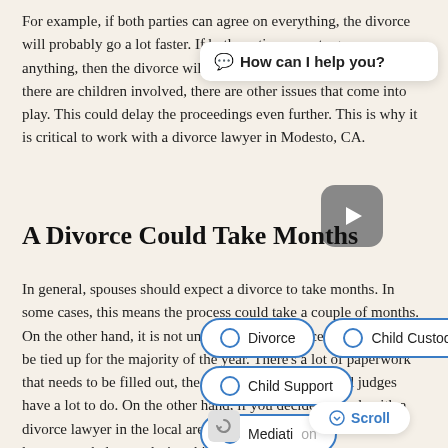For example, if both parties can agree on everything, the divorce will probably go a lot faster. If both parties cannot agree on anything, then the divorce will take a lot longer. In addition, if there are children involved, there are other issues that come into play. This could delay the proceedings even further. This is why it is critical to work with a divorce lawyer in Modesto, CA.
[Figure (screenshot): Chat widget overlay showing 'How can I help you?' with emoji]
[Figure (screenshot): Video play button overlay (rounded rectangle with play triangle)]
A Divorce Could Take Months
In general, spouses should expect a divorce to take months. In some cases, this means the process could take a couple of months. On the other hand, it is not uncommon for divorce proceedings to be tied up for the majority of the year. There's a lot of paperwork that needs to be filled out, the court system is busy, and judges have a lot to do. On the other hand, if you decide to work with a divorce lawyer in the local area, the process may go faster. A lawyer can help you during this process.
[Figure (screenshot): Topic selection pills: Divorce, Child Custody, Child Support, Mediation with radio buttons]
[Figure (screenshot): Scroll button overlay]